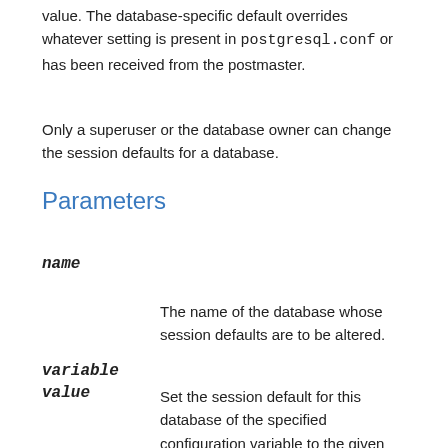value. The database-specific default overrides whatever setting is present in postgresql.conf or has been received from the postmaster.
Only a superuser or the database owner can change the session defaults for a database.
Parameters
name
The name of the database whose session defaults are to be altered.
variable
value
Set the session default for this database of the specified configuration variable to the given value. If value is DEFAULT or, equivalently, RESET is used, the database-specific variable setting is removed and the system-wide default setting will be